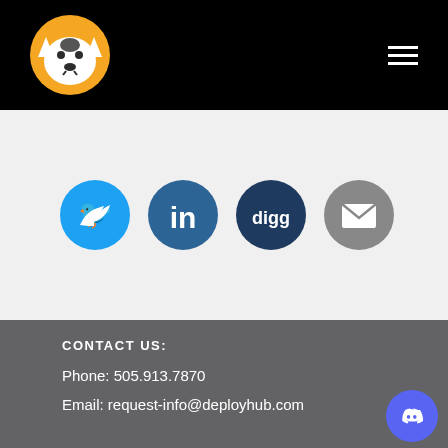[Figure (logo): DeployHub dog logo — white husky dog face on orange circle, in black navigation bar with hamburger menu icon on right]
[Figure (infographic): Four social media icon circles in a row: Twitter (light blue), LinkedIn (dark blue), Digg (dark blue), Email/envelope (gray)]
CONTACT US:
Phone: 505.913.7870
Email: request-info@deployhub.com